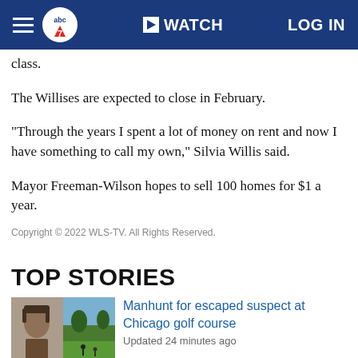abc7 | WATCH | LOG IN
class.
The Willises are expected to close in February.
"Through the years I spent a lot of money on rent and now I have something to call my own," Silvia Willis said.
Mayor Freeman-Wilson hopes to sell 100 homes for $1 a year.
Copyright © 2022 WLS-TV. All Rights Reserved.
TOP STORIES
[Figure (photo): Split image: left side shows a man's mugshot photo, right side shows a golf course with people walking]
Manhunt for escaped suspect at Chicago golf course
Updated 24 minutes ago